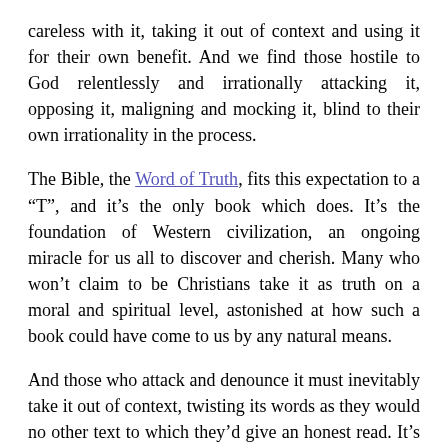careless with it, taking it out of context and using it for their own benefit. And we find those hostile to God relentlessly and irrationally attacking it, opposing it, maligning and mocking it, blind to their own irrationality in the process.
The Bible, the Word of Truth, fits this expectation to a “T”, and it’s the only book which does. It’s the foundation of Western civilization, an ongoing miracle for us all to discover and cherish. Many who won’t claim to be Christians take it as truth on a moral and spiritual level, astonished at how such a book could have come to us by any natural means.
And those who attack and denounce it must inevitably take it out of context, twisting its words as they would no other text to which they’d give an honest read. It’s clear they hate its Author and cannot give it the chance it deserves. (Ro 8:7)